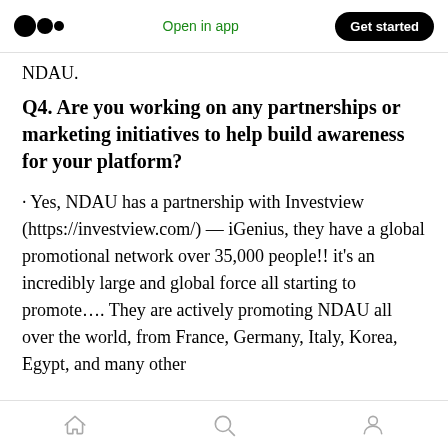Medium — Open in app   Get started
NDAU.
Q4. Are you working on any partnerships or marketing initiatives to help build awareness for your platform?
· Yes, NDAU has a partnership with Investview (https://investview.com/) — iGenius, they have a global promotional network over 35,000 people!! it's an incredibly large and global force all starting to promote…. They are actively promoting NDAU all over the world, from France, Germany, Italy, Korea, Egypt, and many other
Home  Search  Profile